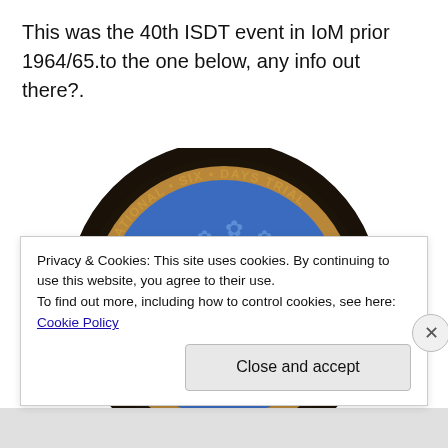This was the 40th ISDT event in IoM prior 1964/65.to the one below, any info out there?.
[Figure (photo): A circular badge/medal for the International Six Days Trial (ISDT) Jubilee, showing the number 50 in the center on a blue background with a dark gear-tooth border. Text around the rim reads INTERNATIONAL • SIX • DAYS TRIAL and JUBILEE at the bottom.]
Privacy & Cookies: This site uses cookies. By continuing to use this website, you agree to their use.
To find out more, including how to control cookies, see here: Cookie Policy
Close and accept